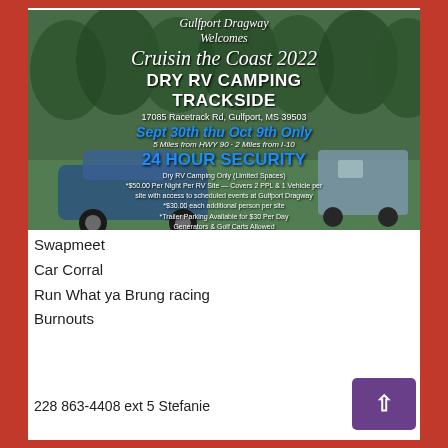[Figure (infographic): Gulfport Dragway advertisement for Cruisin the Coast 2022 Dry RV Camping Trackside event. Shows a vintage blue car parked near RVs with trees in background. Text includes event details: 17085 Racetrack Rd, Gulfport MS 39503, Sept 30th thu Oct 9th Only, 5 Miles from HWY 90 - 2 Miles from I-10, 24 HOUR SECURITY, pricing and reservation details, phone 228-863-4408 ext. 5]
Swapmeet
Car Corral
Run What ya Brung racing
Burnouts
228 863-4408 ext 5 Stefanie